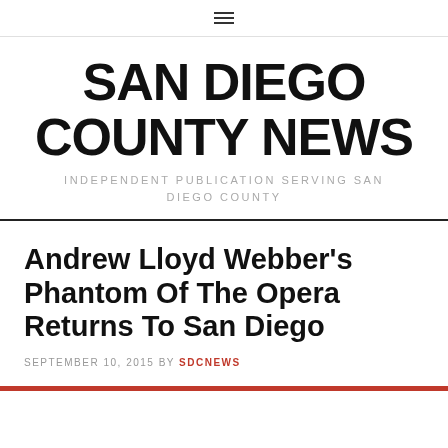≡
SAN DIEGO COUNTY NEWS
INDEPENDENT PUBLICATION SERVING SAN DIEGO COUNTY
Andrew Lloyd Webber's Phantom Of The Opera Returns To San Diego
SEPTEMBER 10, 2015 BY SDCNEWS